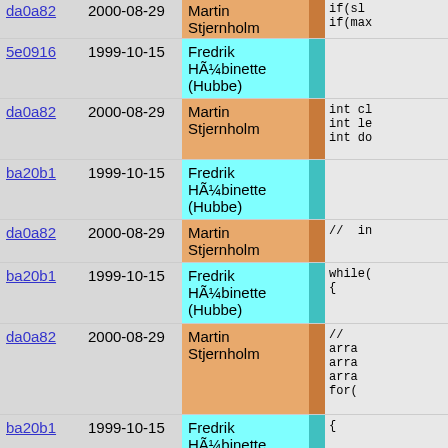| hash | date | author |  | code |
| --- | --- | --- | --- | --- |
| da0a82 | 2000-08-29 | Martin Stjernholm |  | if(sl
if(max |
| 5e0916 | 1999-10-15 | Fredrik HÃ¼binette (Hubbe) |  |  |
| da0a82 | 2000-08-29 | Martin Stjernholm |  | int cl
int le
int do |
| ba20b1 | 1999-10-15 | Fredrik HÃ¼binette (Hubbe) |  |  |
| da0a82 | 2000-08-29 | Martin Stjernholm |  | //  in |
| ba20b1 | 1999-10-15 | Fredrik HÃ¼binette (Hubbe) |  | while(
{ |
| da0a82 | 2000-08-29 | Martin Stjernholm |  | //
arra
arra
arra
for( |
| ba20b1 | 1999-10-15 | Fredrik HÃ¼binette (Hubbe) |  | { |
| da0a82 | 2000-08-29 | Martin Stjernholm |  | cl
ca
z[
is
cl |
| ba20b1 | 1999-10-15 | Fredrik HÃ¼binette (Hubbe) |  | }
whil |